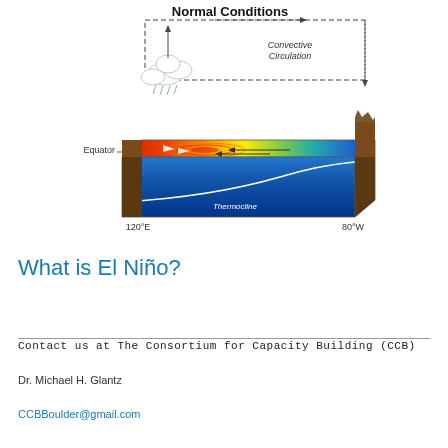[Figure (schematic): Diagram showing Normal Conditions in the Pacific Ocean with convective circulation arrows, warm water (red/orange/yellow) on the west side near 120°E, cooler water (green/teal/blue) toward 80°W, the thermocline sloping downward from east to west, and the Equator labeled. Convective Circulation is indicated with dashed arrows forming a loop overhead.]
What is El Niño?
Contact us at The Consortium for Capacity Building (CCB)
Dr. Michael H. Glantz
CCBBoulder@gmail.com